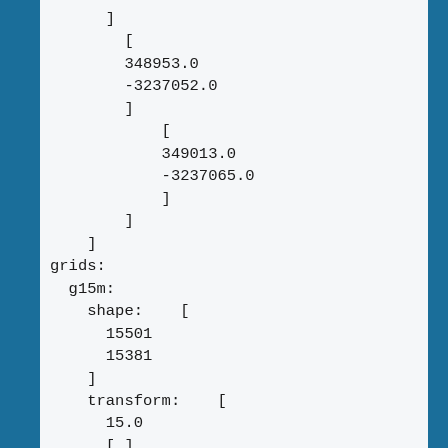]
    [
    348953.0
    -3237052.0
    ]
        [
        349013.0
        -3237065.0
        ]
    ]
]
grids:
  g15m:
    shape:    [
      15501
      15381
    ]
    transform:    [
      15.0
      [ ]